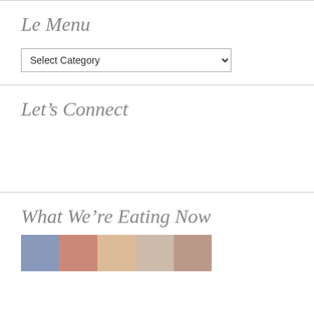Le Menu
Select Category
Let’s Connect
What We’re Eating Now
[Figure (photo): A strip of food photos showing various dishes]